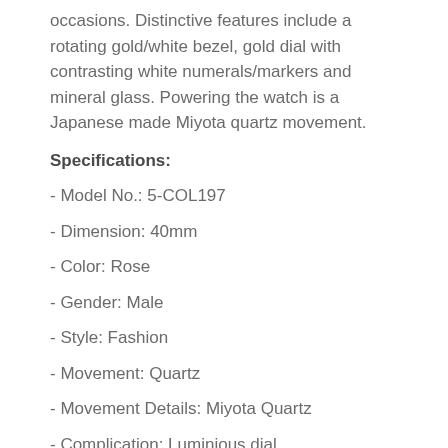occasions. Distinctive features include a rotating gold/white bezel, gold dial with contrasting white numerals/markers and mineral glass. Powering the watch is a Japanese made Miyota quartz movement.
Specifications:
- Model No.: 5-COL197
- Dimension: 40mm
- Color: Rose
- Gender: Male
- Style: Fashion
- Movement: Quartz
- Movement Details: Miyota Quartz
- Complication: Luminious dial